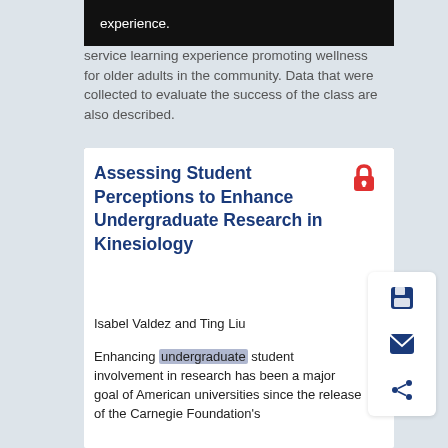experience.
service learning experience promoting wellness for older adults in the community. Data that were collected to evaluate the success of the class are also described.
Assessing Student Perceptions to Enhance Undergraduate Research in Kinesiology
Isabel Valdez and Ting Liu
Enhancing undergraduate student involvement in research has been a major goal of American universities since the release of the Carnegie Foundation's